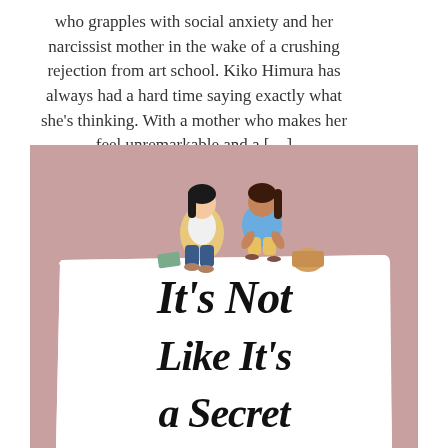who grapples with social anxiety and her narcissist mother in the wake of a crushing rejection from art school. Kiko Himura has always had a hard time saying exactly what she's thinking. With a mother who makes her feel unremarkable and a […]
[Figure (illustration): Book cover illustration for 'It's Not Like It's a Secret'. Pink/mauve background with two illustrated girls sitting on top of a large white scroll/paper. One girl has dark hair and wears a yellow cardigan with jeans, the other has dark hair and wears a blue top with shorts. Below them, large hand-lettered black text reads 'It's Not Like It's a Secret'.]